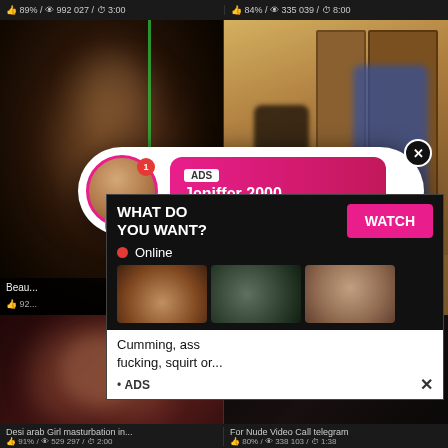89% / 992 027 / 3:00   |   84% / 335 039 / 8:00
[Figure (screenshot): Dark blurry adult video thumbnail on left]
[Figure (screenshot): Room scene adult video thumbnail on right]
[Figure (infographic): Ad bubble overlay: ADS, Jeniffer 2000, (00:12), LIVE badge, notification badge, close X button]
Beau...
92...
[Figure (screenshot): Bottom left adult video thumbnail]
[Figure (screenshot): Bottom right dark video thumbnail]
[Figure (infographic): Ad overlay: WHAT DO YOU WANT? WATCH button, Online indicator, three preview thumbnails, Cumming, ass fucking, squirt or..., ADS label, close X]
Desi arab Girl masturbation in... | For Nude Video Call telegram
91% / 529 297 / 2:00   |   80% / 338 103 / 1:38